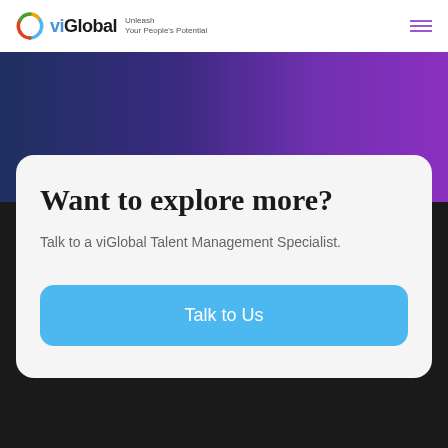viGlobal Unleash Your People's Potential
[Figure (photo): Hero image with a person wearing purple/blue tones, dark gradient background]
Want to explore more?
Talk to a viGlobal Talent Management Specialist.
Talk to Us